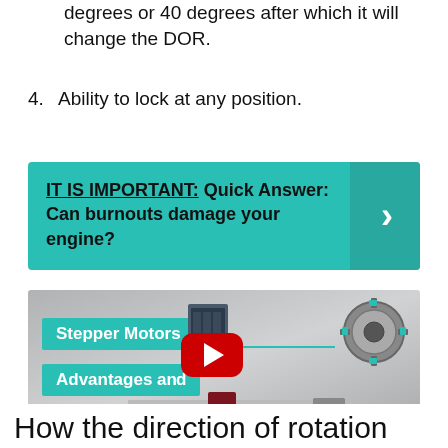degrees or 40 degrees after which it will change the DOR.
4. Ability to lock at any position.
[Figure (infographic): Teal/green banner with bold text: IT IS IMPORTANT: Quick Answer: Can burnouts damage your engine? with a right-arrow chevron on the right side.]
[Figure (screenshot): Video thumbnail from RealPars showing a stepper motor diagram with teal label bars reading: Stepper Motors, Advantages an[d], Disadvantages. A YouTube play button is centered over the image. REALPARS watermark bottom right.]
How the direction of rotation